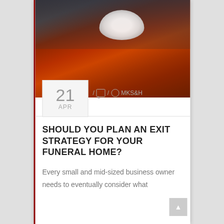[Figure (photo): A wooden coffin with white lily flowers placed on top, with a person's hand visible in dark clothing against a grey background.]
21 APR
/ MKS&H
SHOULD YOU PLAN AN EXIT STRATEGY FOR YOUR FUNERAL HOME?
Every small and mid-sized business owner needs to eventually consider what